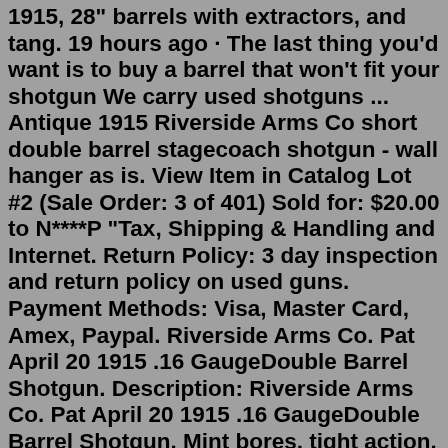1915, 28" barrels with extractors, and tang. 19 hours ago · The last thing you'd want is to buy a barrel that won't fit your shotgun We carry used shotguns ... Antique 1915 Riverside Arms Co short double barrel stagecoach shotgun - wall hanger as is. View Item in Catalog Lot #2 (Sale Order: 3 of 401) Sold for: $20.00 to N****P "Tax, Shipping & Handling and Internet. Return Policy: 3 day inspection and return policy on used guns. Payment Methods: Visa, Master Card, Amex, Paypal. Riverside Arms Co. Pat April 20 1915 .16 GaugeDouble Barrel Shotgun. Description: Riverside Arms Co. Pat April 20 1915 .16 GaugeDouble Barrel Shotgun. Mint bores, tight action. 60% case colors and wood finish. No blue left on barrels.Shotgun, Double-Barrel, J Stevens Arms Co, model 335, 12-gauge, checkered fore/pistol grip. bead front sight, rubber butt plate. ... 10927 - Riverside Arms Co. SxS Shotgun, Double-Barrel 1915 JMD-10164. Holabird Western Americana Collections. ... Issued to a soldier Sept. 1914. The name Jack Kelley is scratched into the butt stock. The